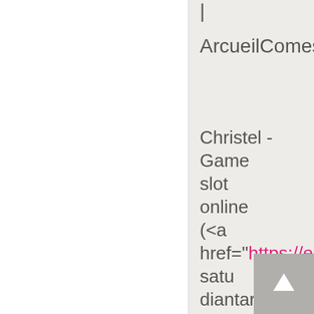|
ArcueilComestib...
Christel - Game slot online (<a href="https://empirica... satu diantara sajian yang tersedia <br> <br>